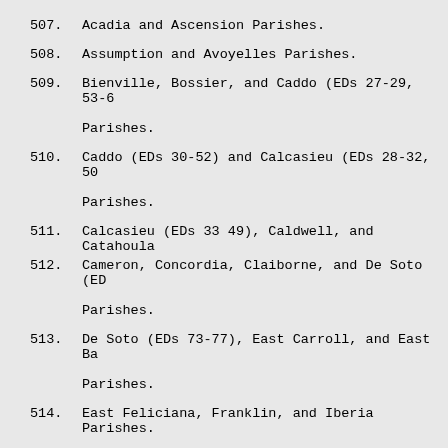507.  Acadia and Ascension Parishes.
508.  Assumption and Avoyelles Parishes.
509.  Bienville, Bossier, and Caddo (EDs 27-29, 53-6 Parishes.
510.  Caddo (EDs 30-52) and Calcasieu (EDs 28-32, 50 Parishes.
511.  Calcasieu (EDs 33 49), Caldwell, and Catahoula
512.  Cameron, Concordia, Claiborne, and De Soto (ED Parishes.
513.  De Soto (EDs 73-77), East Carroll, and East Ba Parishes.
514.  East Feliciana, Franklin, and Iberia Parishes.